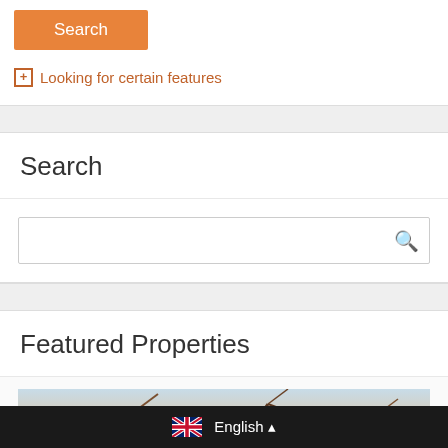Search
+ Looking for certain features
Search
[Figure (screenshot): Search input box with magnifying glass icon]
Featured Properties
[Figure (photo): Partial photo of a property featuring wooden/branch structures against a sky background]
English